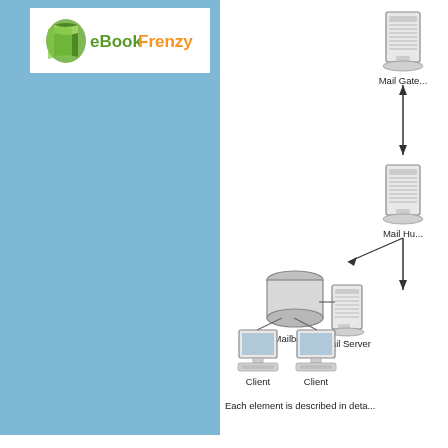[Figure (logo): eBookFrenzy logo with green book icon]
[Figure (network-graph): Network diagram showing mail system components: Client computers connected to Mail Server, which connects to Mailboxes (database), Mail Hub, and Mail Gateway servers with arrows indicating data flow.]
Each element is described in detail in the following sections.